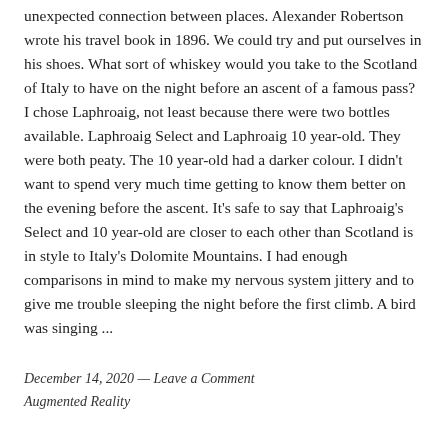unexpected connection between places. Alexander Robertson wrote his travel book in 1896. We could try and put ourselves in his shoes. What sort of whiskey would you take to the Scotland of Italy to have on the night before an ascent of a famous pass? I chose Laphroaig, not least because there were two bottles available. Laphroaig Select and Laphroaig 10 year-old. They were both peaty. The 10 year-old had a darker colour. I didn't want to spend very much time getting to know them better on the evening before the ascent. It's safe to say that Laphroaig's Select and 10 year-old are closer to each other than Scotland is in style to Italy's Dolomite Mountains. I had enough comparisons in mind to make my nervous system jittery and to give me trouble sleeping the night before the first climb. A bird was singing ...
December 14, 2020 — Leave a Comment
Augmented Reality